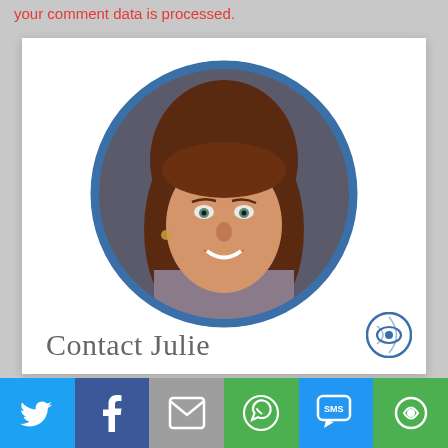your comment data is processed.
[Figure (photo): Circular portrait photo of a woman with brown hair, smiling, on a dark background, framed by a blue circular border]
Contact Julie
[Figure (infographic): Social share bar with six icons: Twitter (blue), Facebook (dark blue), Email (grey), WhatsApp (green), SMS (blue), and a share/eye icon (green)]